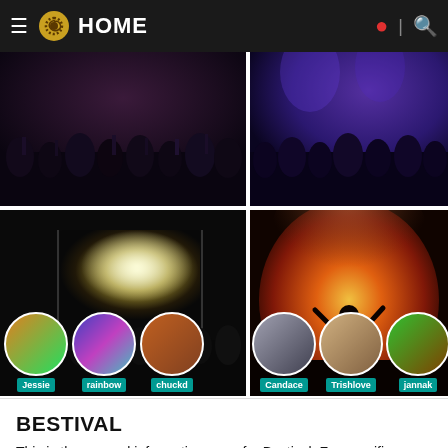HOME
[Figure (photo): Top-left photo: dark crowd at a music festival, silhouettes with hands raised]
[Figure (photo): Top-right photo: blue/purple lit crowd at a music festival]
[Figure (photo): Bottom-left photo: festival stage with large splash of water/light, crowd in front; user avatars at bottom: Jessie, rainbow, chuckd]
[Figure (photo): Bottom-right photo: golden/orange glowing stage with smoke, person with arms raised; user avatars at bottom: Candace, Trishlove, jannak]
BESTIVAL
This is the general information page for Bestival. For specific